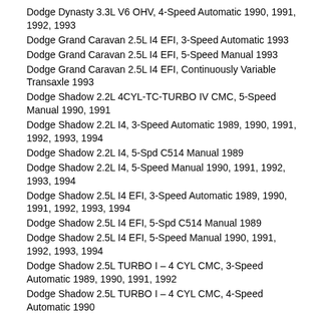Dodge Dynasty 3.3L V6 OHV, 4-Speed Automatic 1990, 1991, 1992, 1993
Dodge Grand Caravan 2.5L I4 EFI, 3-Speed Automatic 1993
Dodge Grand Caravan 2.5L I4 EFI, 5-Speed Manual 1993
Dodge Grand Caravan 2.5L I4 EFI, Continuously Variable Transaxle 1993
Dodge Shadow 2.2L 4CYL-TC-TURBO IV CMC, 5-Speed Manual 1990, 1991
Dodge Shadow 2.2L I4, 3-Speed Automatic 1989, 1990, 1991, 1992, 1993, 1994
Dodge Shadow 2.2L I4, 5-Spd C514 Manual 1989
Dodge Shadow 2.2L I4, 5-Speed Manual 1990, 1991, 1992, 1993, 1994
Dodge Shadow 2.5L I4 EFI, 3-Speed Automatic 1989, 1990, 1991, 1992, 1993, 1994
Dodge Shadow 2.5L I4 EFI, 5-Spd C514 Manual 1989
Dodge Shadow 2.5L I4 EFI, 5-Speed Manual 1990, 1991, 1992, 1993, 1994
Dodge Shadow 2.5L TURBO I – 4 CYL CMC, 3-Speed Automatic 1989, 1990, 1991, 1992
Dodge Shadow 2.5L TURBO I – 4 CYL CMC, 4-Speed Automatic 1990
Dodge Shadow 2.5L TURBO I – 4 CYL CMC, 5-Spd C514 Manual